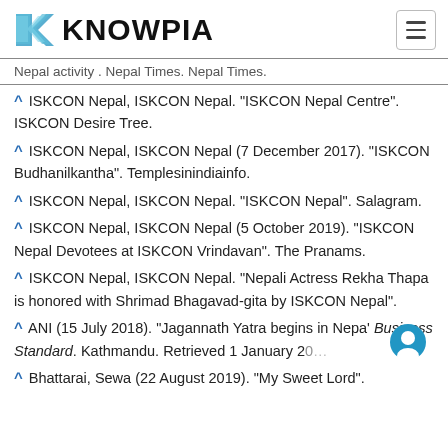KNOWPIA
Nepal activity . Nepal Times. Nepal Times.
^ ISKCON Nepal, ISKCON Nepal. "ISKCON Nepal Centre". ISKCON Desire Tree.
^ ISKCON Nepal, ISKCON Nepal (7 December 2017). "ISKCON Budhanilkantha". Templesinindiainfo.
^ ISKCON Nepal, ISKCON Nepal. "ISKCON Nepal". Salagram.
^ ISKCON Nepal, ISKCON Nepal (5 October 2019). "ISKCON Nepal Devotees at ISKCON Vrindavan". The Pranams.
^ ISKCON Nepal, ISKCON Nepal. "Nepali Actress Rekha Thapa is honored with Shrimad Bhagavad-gita by ISKCON Nepal".
^ ANI (15 July 2018). "Jagannath Yatra begins in Nepal". Business Standard. Kathmandu. Retrieved 1 January 20...
^ Bhattarai, Sewa (22 August 2019). "My Sweet Lord".